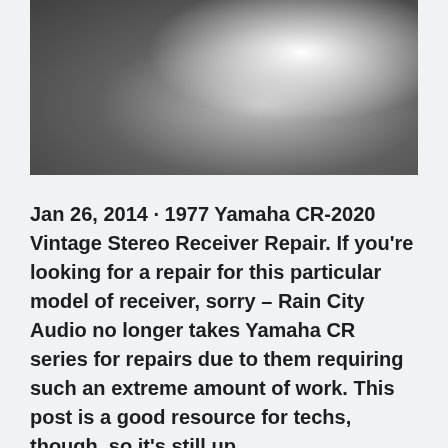[Figure (photo): Black and white close-up photo of a person's back/shoulder, partially cropped]
Jan 26, 2014 · 1977 Yamaha CR-2020 Vintage Stereo Receiver Repair. If you're looking for a repair for this particular model of receiver, sorry – Rain City Audio no longer takes Yamaha CR series for repairs due to them requiring such an extreme amount of work. This post is a good resource for techs, though, so it's still up.
Sell your boat online. Yamaha CR-2020 pricing